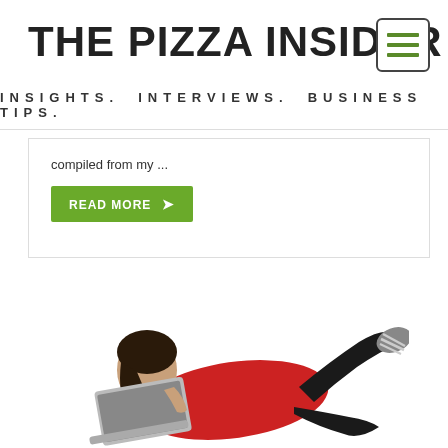THE PIZZA INSIDER
INSIGHTS. INTERVIEWS. BUSINESS TIPS.
compiled from my ...
READ MORE ➔
[Figure (photo): Woman in red shirt lying on stomach using a laptop, with striped socks visible, on white background]